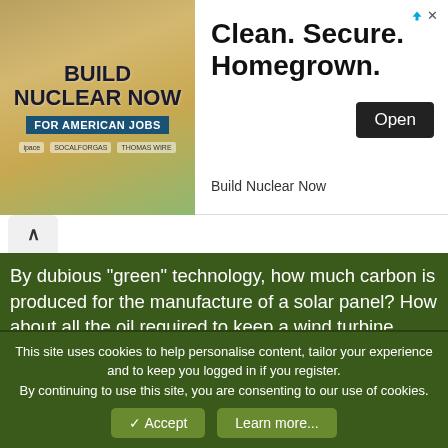[Figure (screenshot): Advertisement banner for 'Build Nuclear Now' campaign with text 'Clean. Secure. Homegrown.' and an Open button]
By dubious "green" technology, how much carbon is produced for the manufacture of a solar panel? How about all the oil required to keep a wind turbine working? All the metal fabrication to make those blades is staggering. Not to mention the efficiency just isn't there to wholesale change to "green" tech. Take a look at the US numbers of Levelized Cost of Electricity, Solar/Wind is staggering compared to NG/Nuclear, but the green lobby is pushing solely for geothermal/Solar/Wind as the only viable option. I wonder why that is? Are they creating themselves a market for their technology? Do they have a personal interest in the profitability of these companies?
This site uses cookies to help personalise content, tailor your experience and to keep you logged in if you register.
By continuing to use this site, you are consenting to our use of cookies.